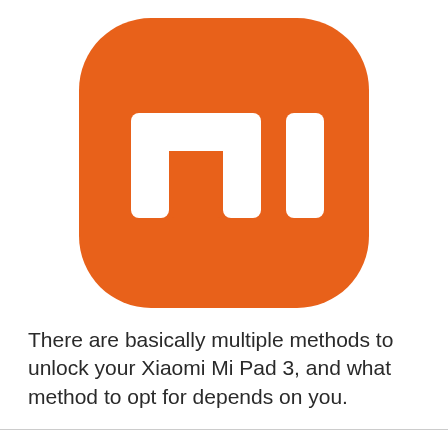[Figure (logo): Xiaomi Mi logo — orange rounded square background with white 'mi' lettering in the center]
There are basically multiple methods to unlock your Xiaomi Mi Pad 3, and what method to opt for depends on you.